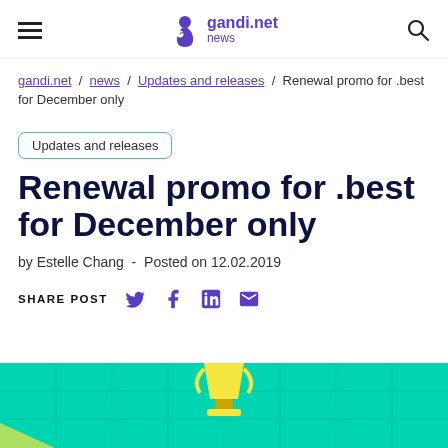gandi.net news
gandi.net / news / Updates and releases / Renewal promo for .best for December only
Updates and releases
Renewal promo for .best for December only
by Estelle Chang  -  Posted on 12.02.2019
SHARE POST
[Figure (illustration): Teal/green grid background with a yellow trophy illustration partially visible at bottom of page]